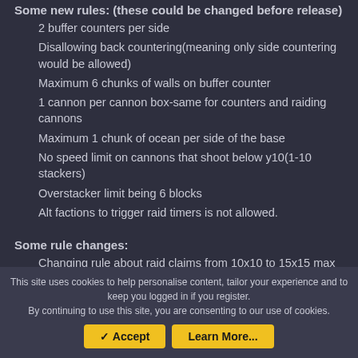Some new rules: (these could be changed before release)
2 buffer counters per side
Disallowing back countering(meaning only side countering would be allowed)
Maximum 6 chunks of walls on buffer counter
1 cannon per cannon box-same for counters and raiding cannons
Maximum 1 chunk of ocean per side of the base
No speed limit on cannons that shoot below y10(1-10 stackers)
Overstacker limit being 6 blocks
Alt factions to trigger raid timers is not allowed.
Some rule changes:
Changing rule about raid claims from 10x10 to 15x15 max raid claim allowed.
This site uses cookies to help personalise content, tailor your experience and to keep you logged in if you register.
By continuing to use this site, you are consenting to our use of cookies.